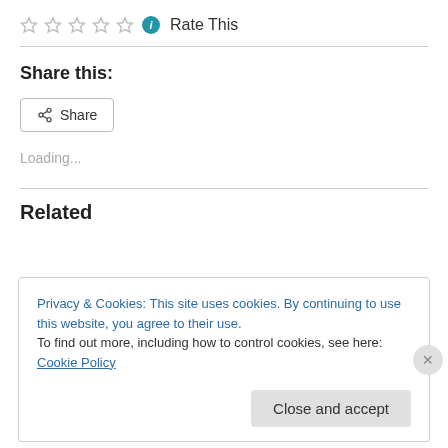[Figure (other): Five empty star rating icons followed by a blue info icon and 'Rate This' text]
Share this:
[Figure (other): Share button with share icon]
Loading...
Related
Privacy & Cookies: This site uses cookies. By continuing to use this website, you agree to their use.
To find out more, including how to control cookies, see here: Cookie Policy
Close and accept